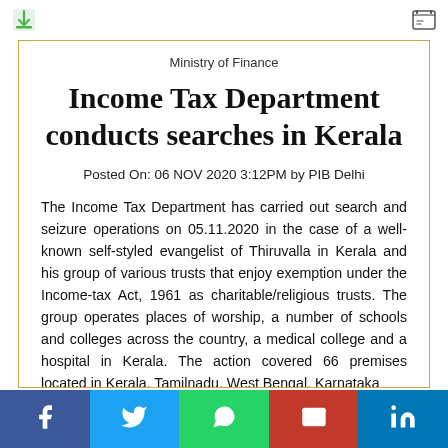Ministry of Finance
Income Tax Department conducts searches in Kerala
Posted On: 06 NOV 2020 3:12PM by PIB Delhi
The Income Tax Department has carried out search and seizure operations on 05.11.2020 in the case of a well-known self-styled evangelist of Thiruvalla in Kerala and his group of various trusts that enjoy exemption under the Income-tax Act, 1961 as charitable/religious trusts. The group operates places of worship, a number of schools and colleges across the country, a medical college and a hospital in Kerala. The action covered 66 premises located in Kerala, Tamilnadu, West Bengal, Karnataka